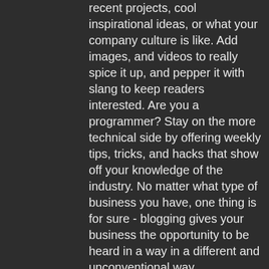recent projects, cool inspirational ideas, or what your company culture is like. Add images, and videos to really spice it up, and pepper it with slang to keep readers interested. Are you a programmer? Stay on the more technical side by offering weekly tips, tricks, and hacks that show off your knowledge of the industry. No matter what type of business you have, one thing is for sure - blogging gives your business the opportunity to be heard in a way in a different and unconventional way.
Get Inspired
To keep up with all things Wix, including website building tips and